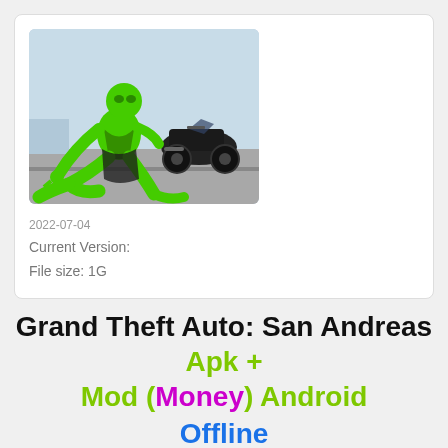[Figure (illustration): Green superhero figure crouching next to a black motorcycle on a road, with a light blue sky background]
2022-07-04
Current Version:
File size: 1G
Grand Theft Auto: San Andreas Apk + Mod (Money) Android
Offline